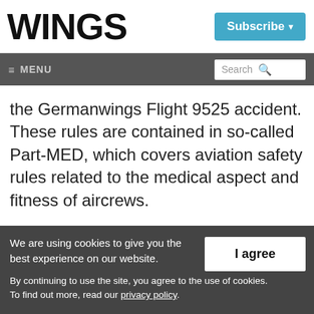WINGS
Subscribe ▾
≡ MENU   Search 🔍
the Germanwings Flight 9525 accident. These rules are contained in so-called Part-MED, which covers aviation safety rules related to the medical aspect and fitness of aircrews.
We are using cookies to give you the best experience on our website. By continuing to use the site, you agree to the use of cookies. To find out more, read our privacy policy.